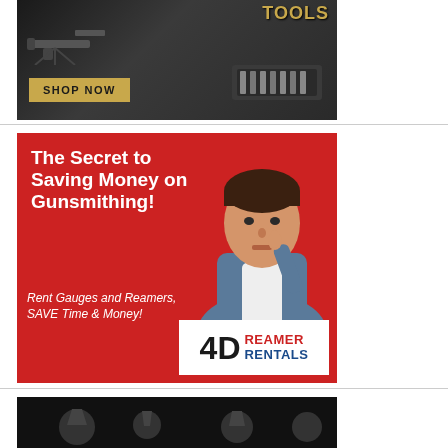[Figure (illustration): Advertisement banner for gunsmithing tools. Dark background with tools/equipment image, gold text saying 'GUNSMITHING TOOLS' and a 'SHOP NOW' button.]
[Figure (illustration): Advertisement for 4D Reamer Rentals on red background. Large white text: 'The Secret to Saving Money on Gunsmithing!' Italic text: 'Rent Gauges and Reamers, SAVE Time & Money!' Man with finger to lips on right side. White logo box bottom right with '4D REAMER RENTALS'.]
[Figure (illustration): Advertisement banner with dark/black background, partially visible, showing some gunsmithing tools or equipment.]